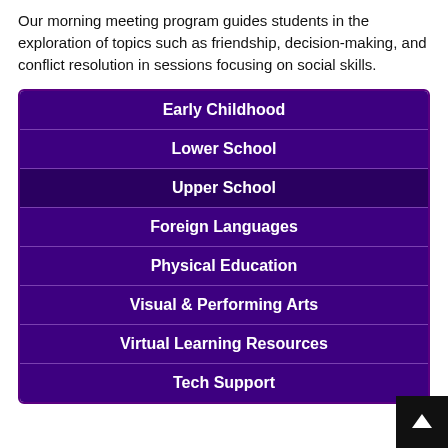Our morning meeting program guides students in the exploration of topics such as friendship, decision-making, and conflict resolution in sessions focusing on social skills.
| Early Childhood |
| Lower School |
| Upper School |
| Foreign Languages |
| Physical Education |
| Visual & Performing Arts |
| Virtual Learning Resources |
| Tech Support |